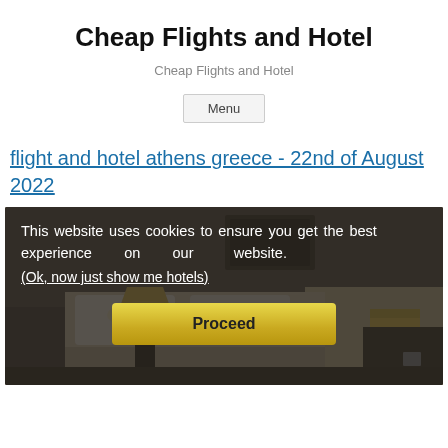Cheap Flights and Hotel
Cheap Flights and Hotel
Menu
flight and hotel athens greece - 22nd of August 2022
[Figure (photo): Hotel room interior with dark furnishings, lamp, and bed with cookie consent overlay and Proceed button]
This website uses cookies to ensure you get the best experience on our website. (Ok, now just show me hotels)
Proceed